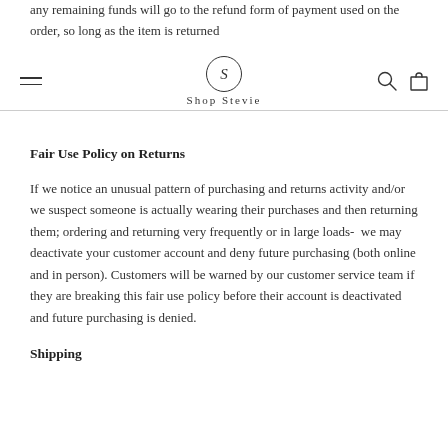any remaining funds will go to the refund form of payment used on the order, so long as the item is returned
Shop Stevie
Fair Use Policy on Returns
If we notice an unusual pattern of purchasing and returns activity and/or we suspect someone is actually wearing their purchases and then returning them; ordering and returning very frequently or in large loads-  we may deactivate your customer account and deny future purchasing (both online and in person). Customers will be warned by our customer service team if they are breaking this fair use policy before their account is deactivated and future purchasing is denied.
Shipping